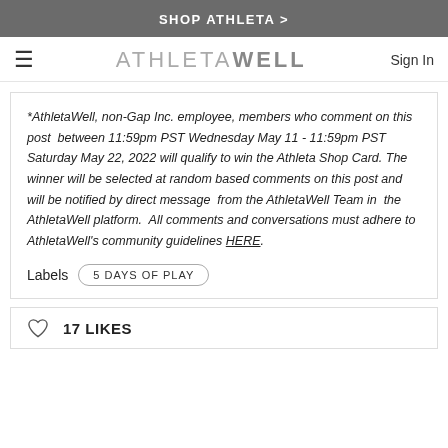SHOP ATHLETA >
ATHLETAWELL  Sign In
*AthletaWell, non-Gap Inc. employee, members who comment on this post between 11:59pm PST Wednesday May 11 - 11:59pm PST Saturday May 22, 2022 will qualify to win the Athleta Shop Card. The winner will be selected at random based comments on this post and will be notified by direct message from the AthletaWell Team in the AthletaWell platform. All comments and conversations must adhere to AthletaWell's community guidelines HERE.
Labels  5 DAYS OF PLAY
17 LIKES